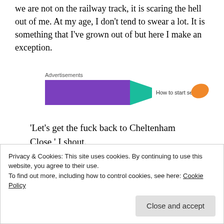we are not on the railway track, it is scaring the hell out of me. At my age, I don't tend to swear a lot. It is something that I've grown out of but here I make an exception.
[Figure (other): Advertisement banner with purple, teal, and orange colored sections, with text 'How to start selling']
'Let's get the fuck back to Cheltenham Close,' I shout.
Privacy & Cookies: This site uses cookies. By continuing to use this website, you agree to their use.
To find out more, including how to control cookies, see here: Cookie Policy
[Close and accept]